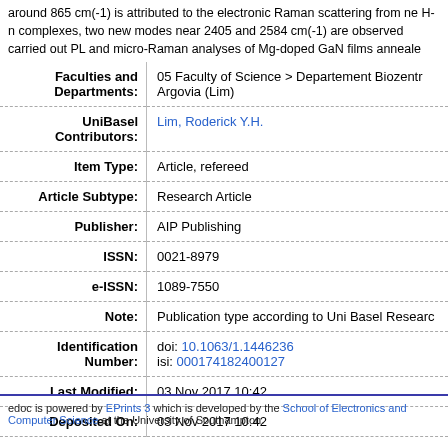around 865 cm(-1) is attributed to the electronic Raman scattering from ne H-n complexes, two new modes near 2405 and 2584 cm(-1) are observed carried out PL and micro-Raman analyses of Mg-doped GaN films anneale
| Field | Value |
| --- | --- |
| Faculties and Departments: | 05 Faculty of Science > Departement Biozentr Argovia (Lim) |
| UniBasel Contributors: | Lim, Roderick Y.H. |
| Item Type: | Article, refereed |
| Article Subtype: | Research Article |
| Publisher: | AIP Publishing |
| ISSN: | 0021-8979 |
| e-ISSN: | 1089-7550 |
| Note: | Publication type according to Uni Basel Researc |
| Identification Number: | doi: 10.1063/1.1446236
isi: 000174182400127 |
| Last Modified: | 03 Nov 2017 10:42 |
| Deposited On: | 03 Nov 2017 10:42 |
edoc is powered by EPrints 3 which is developed by the School of Electronics and Computer Science at the University of Southampton.